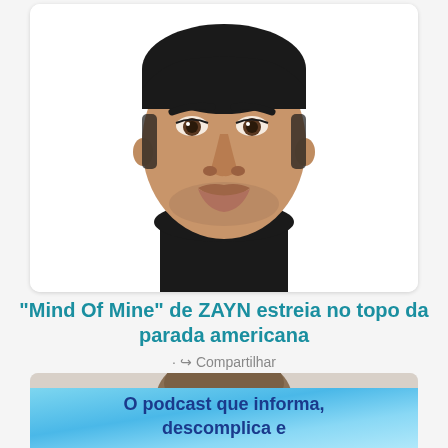[Figure (photo): Portrait photo of ZAYN - young man with short dark hair, dark eyes, light stubble beard, wearing a black shirt against white background]
"Mind Of Mine" de ZAYN estreia no topo da parada americana
· Compartilhar
[Figure (photo): Partial photo showing the top of a person's head with short brown hair]
[Figure (infographic): Blue gradient banner with bold text: O podcast que informa, descomplica e]